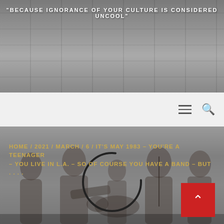"BECAUSE IGNORANCE OF YOUR CULTURE IS CONSIDERED UNCOOL"
[Figure (screenshot): Website screenshot showing a blog/cultural website. Top banner shows venue/room photo in grayscale. Navigation bar with hamburger menu and search icon on light gray background. Lower section shows breadcrumb navigation and a black-and-white photo of five young people (a band) in 1983, with a circular loading spinner overlay. Red back-to-top button in bottom right corner.]
HOME / 2021 / MARCH / 6 / IT'S MAY 1983 – YOU'RE A TEENAGER – YOU LIVE IN L.A. – SO OF COURSE YOU HAVE A BAND – BUT . . . .